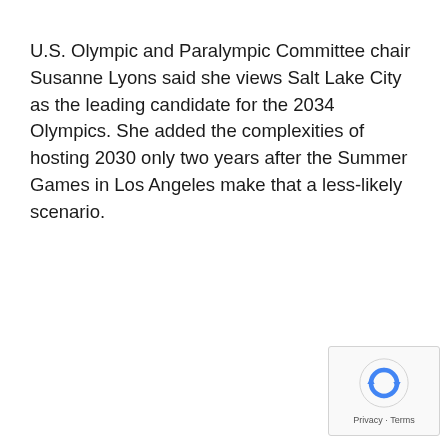U.S. Olympic and Paralympic Committee chair Susanne Lyons said she views Salt Lake City as the leading candidate for the 2034 Olympics. She added the complexities of hosting 2030 only two years after the Summer Games in Los Angeles make that a less-likely scenario.
[Figure (logo): reCAPTCHA badge with rotating arrows icon and Privacy · Terms text]